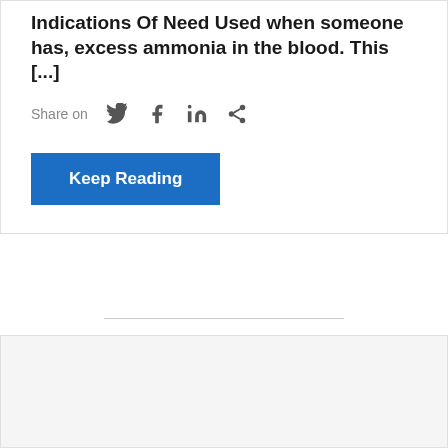Indications Of Need Used when someone has, excess ammonia in the blood. This [...]
Share on
Keep Reading